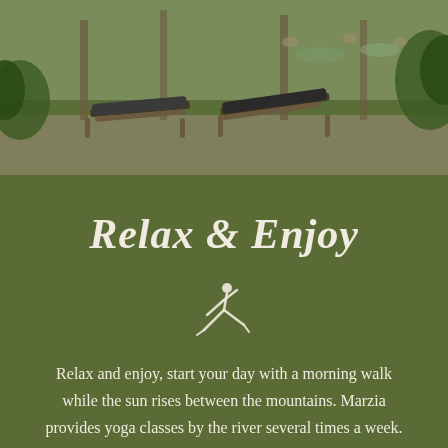[Figure (photo): Outdoor relaxation area with bamboo lounge chairs and people doing yoga on mats in a garden/nature setting]
Relax & Enjoy
[Figure (illustration): Small white yoga pose icon (warrior pose silhouette)]
Relax and enjoy, start your day with a morning walk while the sun rises between the mountains. Marzia provides yoga classes by the river several times a week. Marzia also gives wonderful massages.